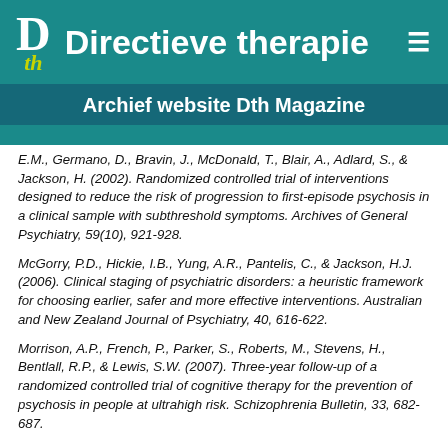Directieve therapie
Archief website Dth Magazine
E.M., Germano, D., Bravin, J., McDonald, T., Blair, A., Adlard, S., & Jackson, H. (2002). Randomized controlled trial of interventions designed to reduce the risk of progression to first-episode psychosis in a clinical sample with subthreshold symptoms. Archives of General Psychiatry, 59(10), 921-928.
McGorry, P.D., Hickie, I.B., Yung, A.R., Pantelis, C., & Jackson, H.J. (2006). Clinical staging of psychiatric disorders: a heuristic framework for choosing earlier, safer and more effective interventions. Australian and New Zealand Journal of Psychiatry, 40, 616-622.
Morrison, A.P., French, P., Parker, S., Roberts, M., Stevens, H., Bentlall, R.P., & Lewis, S.W. (2007). Three-year follow-up of a randomized controlled trial of cognitive therapy for the prevention of psychosis in people at ultrahigh risk. Schizophrenia Bulletin, 33, 682-687.